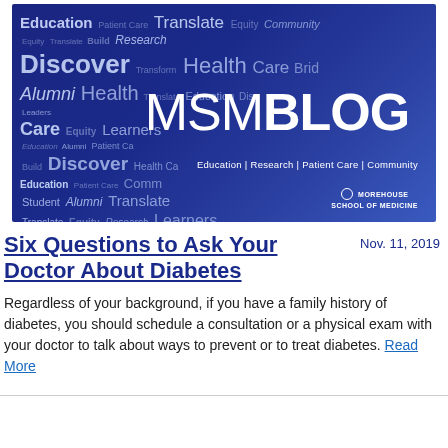[Figure (illustration): MSM Blog banner with word cloud background on dark blue/purple gradient. Words include Education, Patient Care, Translate, Equity, Community, Discover, Research, Health, Care, Bridge, Alumni, Leaders, Learners, Build, Student, Equity, Transform, Prepare, Community, Patient Care, Research, and others. Large white text reads 'MSMBLOG' with subtitle 'Education | Research | Patient Care | Community' and Morehouse School of Medicine logo.]
Six Questions to Ask Your Doctor About Diabetes
Nov. 11, 2019
Regardless of your background, if you have a family history of diabetes, you should schedule a consultation or a physical exam with your doctor to talk about ways to prevent or to treat diabetes. Read More